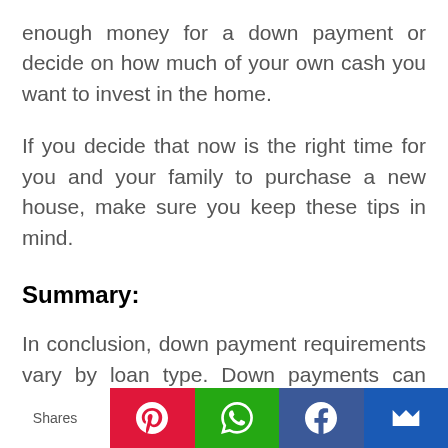enough money for a down payment or decide on how much of your own cash you want to invest in the home.
If you decide that now is the right time for you and your family to purchase a new house, make sure you keep these tips in mind.
Summary:
In conclusion, down payment requirements vary by loan type. Down payments can also be determined by the lender based on credit score,
Shares [Pinterest] [WhatsApp] [Facebook] [Email]